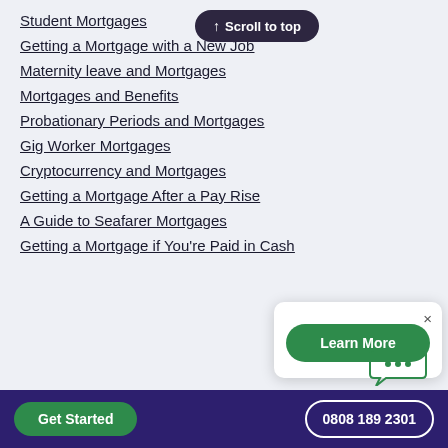Student Mortgages
Getting a Mortgage with a New Job
Maternity leave and Mortgages
Mortgages and Benefits
Probationary Periods and Mortgages
Gig Worker Mortgages
Cryptocurrency and Mortgages
Getting a Mortgage After a Pay Rise
A Guide to Seafarer Mortgages
Getting a Mortgage if You're Paid in Cash
Get Started   0808 189 2301